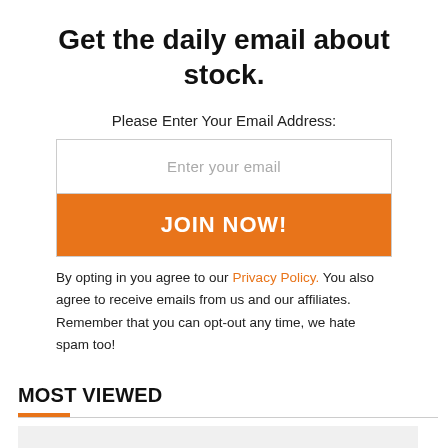Get the daily email about stock.
Please Enter Your Email Address:
[Figure (other): Email signup form with a text input field showing placeholder 'Enter your email' and an orange 'JOIN NOW!' button below it.]
By opting in you agree to our Privacy Policy. You also agree to receive emails from us and our affiliates. Remember that you can opt-out any time, we hate spam too!
MOST VIEWED